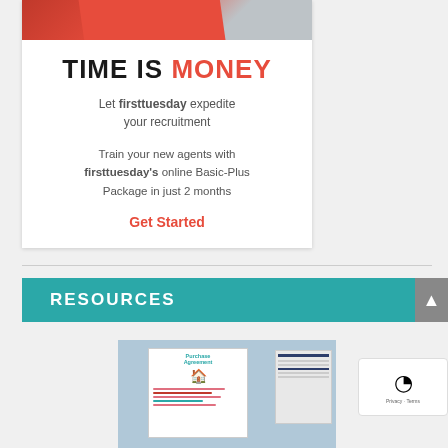[Figure (illustration): Advertisement card with red diagonal header graphic for firsttuesday recruitment service]
TIME IS MONEY
Let firsttuesday expedite your recruitment
Train your new agents with firsttuesday's online Basic-Plus Package in just 2 months
Get Started
RESOURCES
[Figure (illustration): Purchase Agreement document illustration with papers, house icon, and pie chart graphic on blue background]